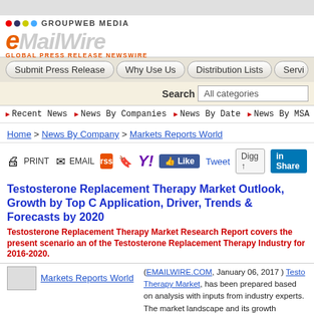[Figure (logo): eMailWire / GroupWeb Media logo with colored dots and tagline 'GLOBAL PRESS RELEASE NEWSWIRE']
Submit Press Release | Why Use Us | Distribution Lists | Servi...
Search  All categories
Recent News  News By Companies  News By Date  News By MSA  Ne...
Home > News By Company > Markets Reports World
[Figure (infographic): Social sharing bar: PRINT, EMAIL, RSS, Delicious, Yahoo, Like, Tweet, Digg, LinkedIn Share]
Testosterone Replacement Therapy Market Outlook, Growth by Top C Application, Driver, Trends & Forecasts by 2020
Testosterone Replacement Therapy Market Research Report covers the present scenario and of the Testosterone Replacement Therapy Industry for 2016-2020.
[Figure (logo): Markets Reports World company logo image placeholder]
Markets Reports World
(EMAILWIRE.COM, January 06, 2017 ) Testosterone Replacement Therapy Market, has been prepared based on analysis with inputs from industry experts. The market landscape and its growth prospects over and discussion of the key vendors effective in calculate the market size, the report considers